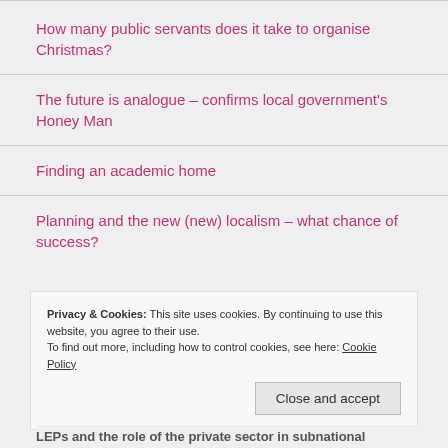How many public servants does it take to organise Christmas?
The future is analogue – confirms local government's Honey Man
Finding an academic home
Planning and the new (new) localism – what chance of success?
Privacy & Cookies: This site uses cookies. By continuing to use this website, you agree to their use.
To find out more, including how to control cookies, see here: Cookie Policy
Close and accept
LEPs and the role of the private sector in subnational